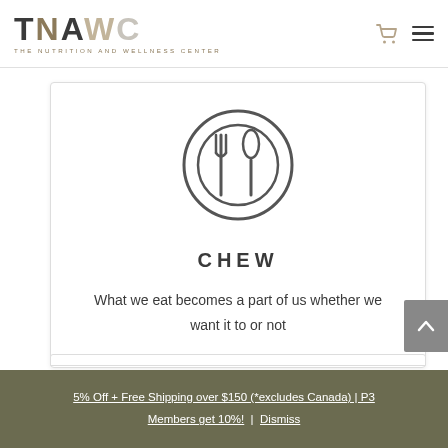[Figure (logo): TNAWC logo — The Nutrition and Wellness Center wordmark with stylized colored letters]
[Figure (illustration): Circular plate icon with fork and spoon inside two concentric circles, dark gray outline style]
CHEW
What we eat becomes a part of us whether we want it to or not
5% Off + Free Shipping over $150 (*excludes Canada) | P3 Members get 10%! | Dismiss